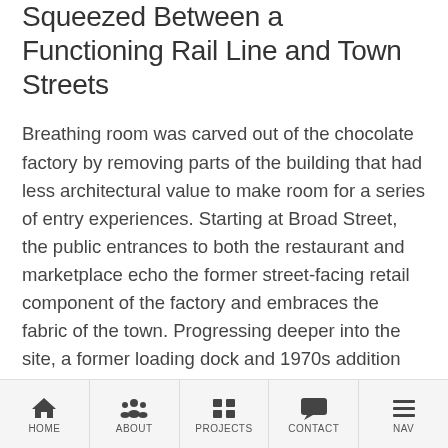Squeezed Between a Functioning Rail Line and Town Streets
Breathing room was carved out of the chocolate factory by removing parts of the building that had less architectural value to make room for a series of entry experiences. Starting at Broad Street, the public entrances to both the restaurant and marketplace echo the former street-facing retail component of the factory and embraces the fabric of the town. Progressing deeper into the site, a former loading dock and 1970s addition were removed to form the main courtyard entrance
HOME | ABOUT | PROJECTS | CONTACT | NAV